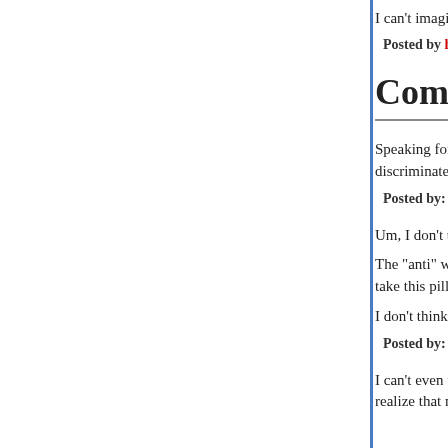I can't imagine.
Posted by hilzoy at 08:15 PM | Permalink
Comments
Speaking for the male of the species, I think we're menstruation to discriminate between men and w
Posted by: G'Kar | May 27, 2007 at 08:41 PM
Um, I don't understand.
The "anti" woman in the video seems to think that requirement that women take this pill.
I don't think that's correct.
Posted by: bernard Yomtov | May 27, 2007 at 08:42 PM
I can't even watch the whole clip. That woman is realize that none of what she's saying is even re